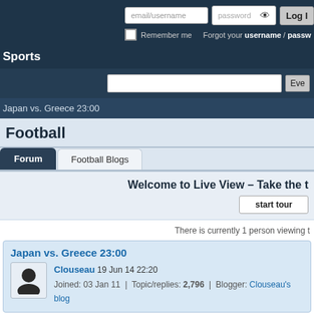email/username  password  Log In  Remember me  Forgot your username / password
Sports
Japan vs. Greece 23:00
Football
Forum  Football Blogs
Welcome to Live View – Take the tour
start tour
There is currently 1 person viewing t
Japan vs. Greece 23:00
Clouseau  19 Jun 14 22:20  Joined: 03 Jan 11  |  Topic/replies: 2,796  |  Blogger: Clouseau's blog